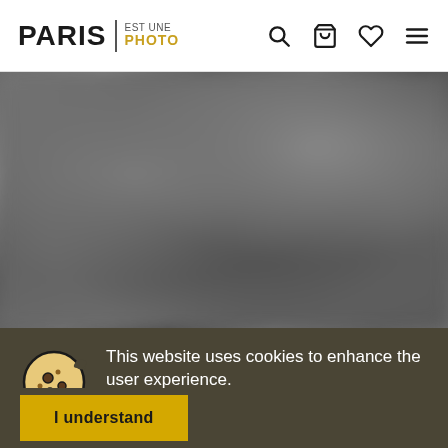PARIS | EST UNE PHOTO
[Figure (photo): Blurred grayscale photograph background]
This website uses cookies to enhance the user experience.
I understand